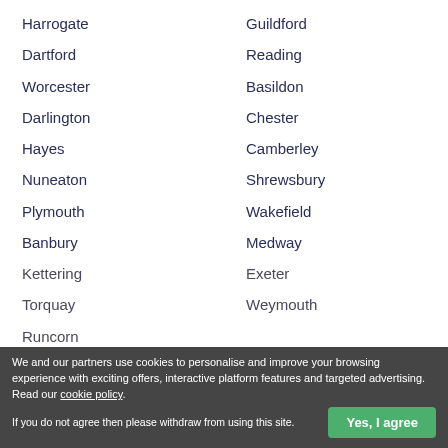Harrogate
Guildford
Dartford
Reading
Worcester
Basildon
Darlington
Chester
Hayes
Camberley
Nuneaton
Shrewsbury
Plymouth
Wakefield
Banbury
Medway
Kettering
Exeter
Torquay
Weymouth
Runcorn
We and our partners use cookies to personalise and improve your browsing experience with exciting offers, interactive platform features and targeted advertising. Read our cookie policy.
If you do not agree then please withdraw from using this site.